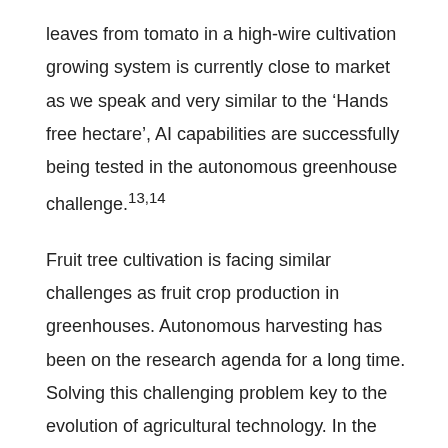leaves from tomato in a high-wire cultivation growing system is currently close to market as we speak and very similar to the 'Hands free hectare', AI capabilities are successfully being tested in the autonomous greenhouse challenge.13,14
Fruit tree cultivation is facing similar challenges as fruit crop production in greenhouses. Autonomous harvesting has been on the research agenda for a long time. Solving this challenging problem key to the evolution of agricultural technology. In the meantime, farmers have adopted a solution in which workers are supported and transported by an autonomous mobile platform. Not having to move and climb ladders has improved work